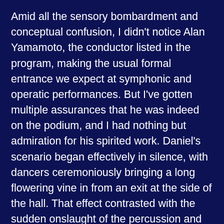Amid all the sensory bombardment and conceptual confusion, I didn't notice Alan Yamamoto, the conductor listed in the program, making the usual formal entrance we expect at symphonic and operatic performances. But I've gotten multiple assurances that he was indeed on the podium, and I had nothing but admiration for his spirited work. Daniel's scenario began effectively in silence, with dancers ceremoniously bringing a long flowering vine in from an exit at the side of the hall. That effect contrasted with the sudden onslaught of the percussion and the female vocalist who sang The Bride's role. Besides including the lyrics, the program would have been more useful if it had designated who sang the roles of the bride's mother and father, the groom, the groom's father, etc. For all of the confusion that hovered over this presentation, the primitive savagery of the singing and percussion